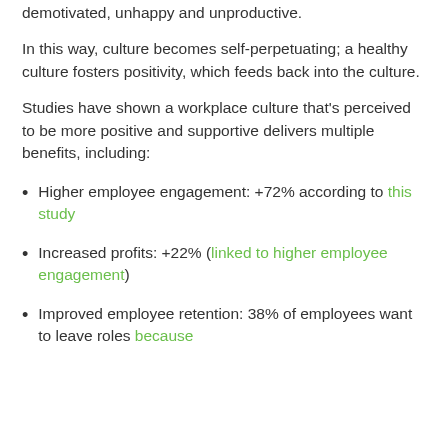demotivated, unhappy and unproductive.
In this way, culture becomes self-perpetuating; a healthy culture fosters positivity, which feeds back into the culture.
Studies have shown a workplace culture that's perceived to be more positive and supportive delivers multiple benefits, including:
Higher employee engagement: +72% according to this study
Increased profits: +22% (linked to higher employee engagement)
Improved employee retention: 38% of employees want to leave roles because